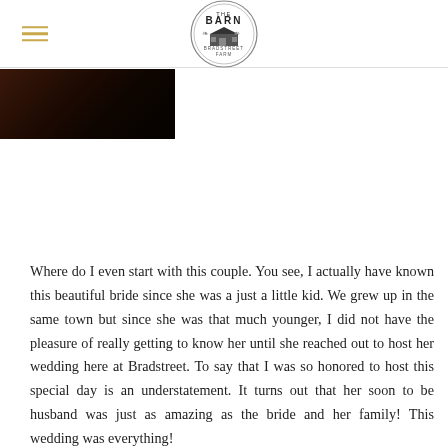The Barn at Bradstreet Farm
[Figure (photo): Partial view of a dark photo showing a bride, cropped at top left of page content area]
Where do I even start with this couple. You see, I actually have known this beautiful bride since she was a just a little kid. We grew up in the same town but since she was that much younger, I did not have the pleasure of really getting to know her until she reached out to host her wedding here at Bradstreet. To say that I was so honored to host this special day is an understatement. It turns out that her soon to be husband was just as amazing as the bride and her family! This wedding was everything!